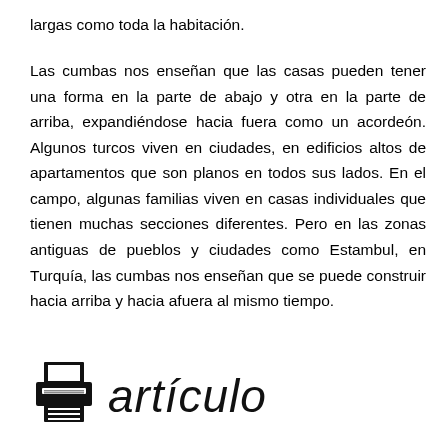largas como toda la habitación.
Las cumbas nos enseñan que las casas pueden tener una forma en la parte de abajo y otra en la parte de arriba, expandiéndose hacia fuera como un acordeón. Algunos turcos viven en ciudades, en edificios altos de apartamentos que son planos en todos sus lados. En el campo, algunas familias viven en casas individuales que tienen muchas secciones diferentes. Pero en las zonas antiguas de pueblos y ciudades como Estambul, en Turquía, las cumbas nos enseñan que se puede construir hacia arriba y hacia afuera al mismo tiempo.
[Figure (logo): Printer icon followed by handwritten-style text reading 'artículo']